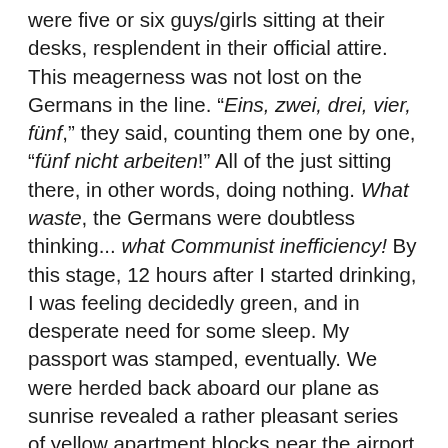were five or six guys/girls sitting at their desks, resplendent in their official attire. This meagerness was not lost on the Germans in the line. "Eins, zwei, drei, vier, fünf," they said, counting them one by one, "fünf nicht arbeiten!" All of the just sitting there, in other words, doing nothing. What waste, the Germans were doubtless thinking... what Communist inefficiency! By this stage, 12 hours after I started drinking, I was feeling decidedly green, and in desperate need for some sleep. My passport was stamped, eventually. We were herded back aboard our plane as sunrise revealed a rather pleasant series of yellow apartment blocks near the airport, kids going off to school, and adults to work. Yellow was actually the color of the day, yellow and pale blue, yellow and sulphurous brown. Skysurfing southern China was a smudge of sulphuric smog, the ground barely visible, that vast agricultural heartland conspicuous in its absence. I took occasional peeks out of the window, between drifts into light sleep. Peaks of cloud drifted by. Everyone on the opposite side of the cabin gawked out the window as we approached Beijing, seeing something I couldn't see... maybe it was the Great Wall (but isn't that to the north?) At Beijing airport we spent more time waiting in futile lines. On